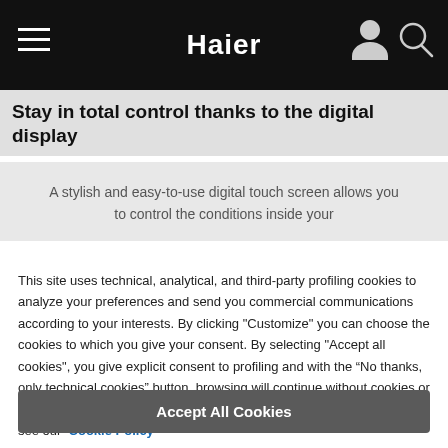Haier
Stay in total control thanks to the digital display
A stylish and easy-to-use digital touch screen allows you to control the conditions inside your
This site uses technical, analytical, and third-party profiling cookies to analyze your preferences and send you commercial communications according to your interests. By clicking "Customize" you can choose the cookies to which you give your consent. By selecting "Accept all cookies", you give explicit consent to profiling and with the “No thanks, only technical cookies” button, browsing will continue without cookies or other tracking tools other than technical ones. To learn more, please see our Cookie Policy
Accept All Cookies
No thanks, only technical cookies
Customize